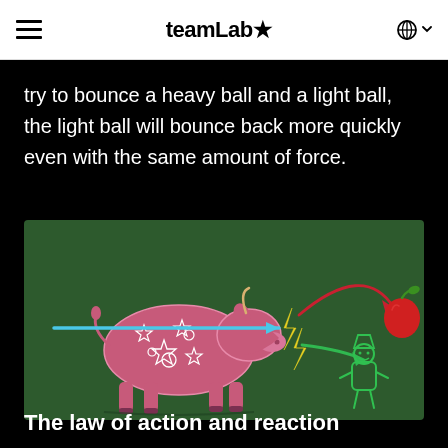teamLab★
try to bounce a heavy ball and a light ball, the light ball will bounce back more quickly even with the same amount of force.
[Figure (illustration): Chalkboard-style illustration on dark green background showing a pink decorated cow being hit by a blue arrow from the left, with yellow lightning bolt symbols in the center, a red curved arrow pointing to a red apple on the right, and a green curved arrow pointing to a small green figure (Newton-like character) below the apple.]
The law of action and reaction